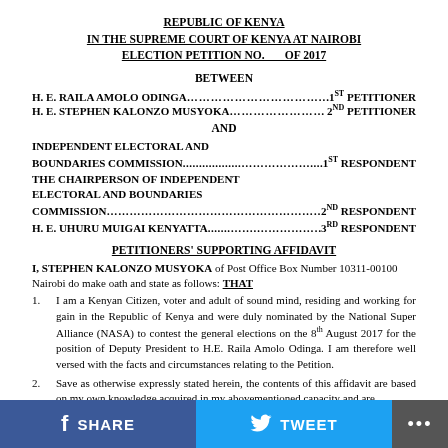REPUBLIC OF KENYA
IN THE SUPREME COURT OF KENYA AT NAIROBI
ELECTION PETITION NO.      OF 2017
BETWEEN
H. E. RAILA AMOLO ODINGA…………………............................1ST PETITIONER
H. E. STEPHEN KALONZO MUSYOKA………………………..2ND PETITIONER
AND
INDEPENDENT ELECTORAL AND BOUNDARIES COMMISSION................……………….........1ST RESPONDENT
THE CHAIRPERSON OF INDEPENDENT ELECTORAL AND BOUNDARIES COMMISSION……………………………………………………..2ND RESPONDENT
H. E. UHURU MUIGAI KENYATTA……..…………………….3RD RESPONDENT
PETITIONERS' SUPPORTING AFFIDAVIT
I, STEPHEN KALONZO MUSYOKA of Post Office Box Number 10311-00100 Nairobi do make oath and state as follows: THAT
1. I am a Kenyan Citizen, voter and adult of sound mind, residing and working for gain in the Republic of Kenya and were duly nominated by the National Super Alliance (NASA) to contest the general elections on the 8th August 2017 for the position of Deputy President to H.E. Raila Amolo Odinga. I am therefore well versed with the facts and circumstances relating to the Petition.
2. Save as otherwise expressly stated herein, the contents of this affidavit are based on my own knowledge acquired in my abovementioned capacity and are